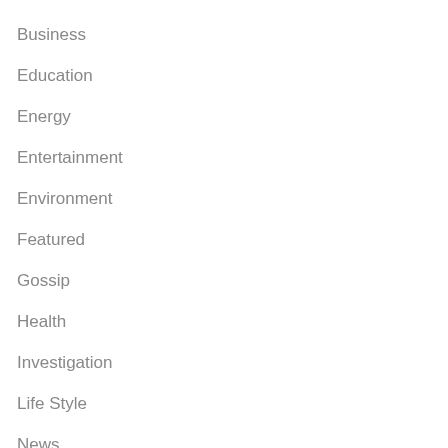Business
Education
Energy
Entertainment
Environment
Featured
Gossip
Health
Investigation
Life Style
News
Opinions
Politics
Regional